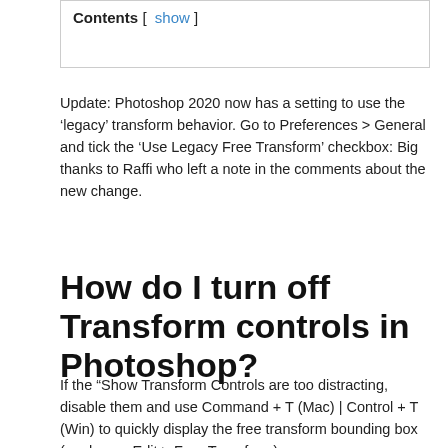Contents [ show ]
Update: Photoshop 2020 now has a setting to use the ‘legacy’ transform behavior. Go to Preferences > General and tick the ‘Use Legacy Free Transform’ checkbox: Big thanks to Raffi who left a note in the comments about the new change.
How do I turn off Transform controls in Photoshop?
If the “Show Transform Controls are too distracting, disable them and use Command + T (Mac) | Control + T (Win) to quickly display the free transform bounding box (or choose Edit > Free Transform).